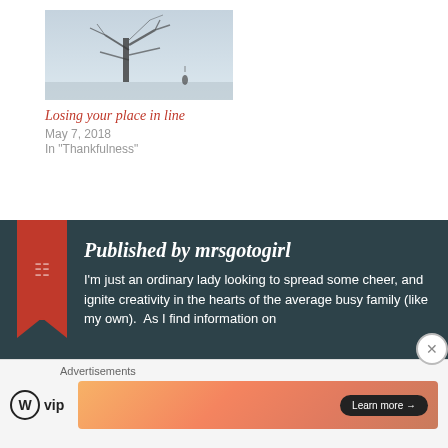[Figure (photo): A misty/foggy scene with a bare tree and a small figure, dark and atmospheric]
Losing your place in line
May 7, 2018
In "Thankfulness"
Published by mrsgotogirl
I'm just an ordinary lady looking to spread some cheer, and ignite creativity in the hearts of the average busy family (like my own).  As I find information on
Advertisements
[Figure (logo): WordPress VIP logo]
[Figure (illustration): Advertisement banner with orange/peach gradient and Learn more button]